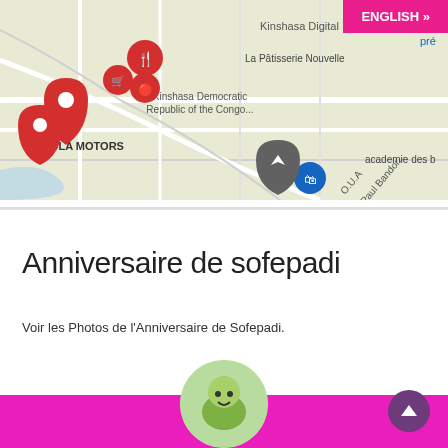[Figure (map): Google Maps screenshot showing Kinshasa, Democratic Republic of the Congo, with red location pins for La Pâtisserie Nouvelle, OLA MOTORS, academie des b..., and other map markers. Roads and city features visible with labels including 'Kinshasa Digital', 'O.U.A', 'Paul Bandor...']
ENGLISH »
Anniversaire de sofepadi
Voir les Photos de l'Anniversaire de Sofepadi.